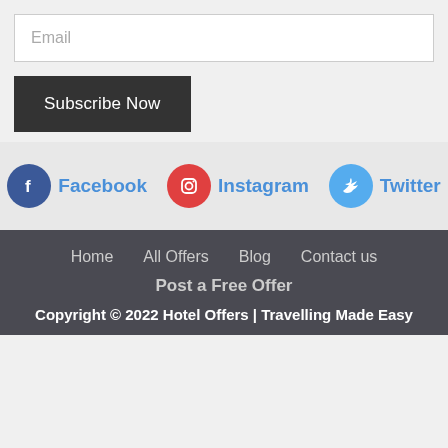Email
Subscribe Now
[Figure (infographic): Social media links row: Facebook (blue circle with f icon), Instagram (red circle with camera icon), Twitter (light blue circle with bird icon)]
Home   All Offers   Blog   Contact us
Post a Free Offer
Copyright © 2022 Hotel Offers | Travelling Made Easy